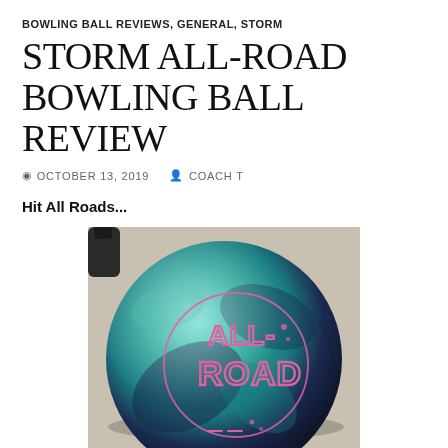BOWLING BALL REVIEWS, GENERAL, STORM
STORM ALL-ROAD BOWLING BALL REVIEW
OCTOBER 13, 2019   COACH T
Hit All Roads...
[Figure (photo): Storm All-Road bowling ball in teal and dark blue/purple with pink All-Road logo text on the surface, sitting on a concrete surface with a dark bottle visible in the upper left corner.]